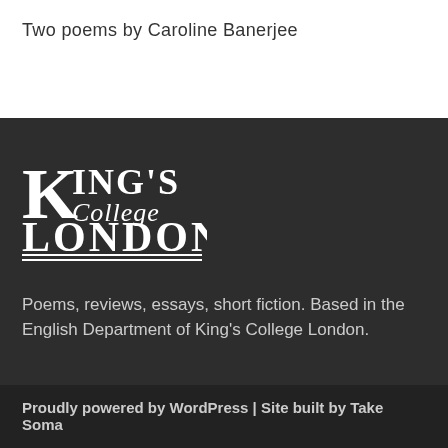Two poems by Caroline Banerjee
[Figure (logo): King's College London logo in white on dark background, featuring large serif K with 'ING'S' text, 'College' in italic, 'LONDON' in bold capitals, and double underline]
Poems, reviews, essays, short fiction. Based in the English Department of King's College London.
Proudly powered by WordPress | Site built by Take Soma